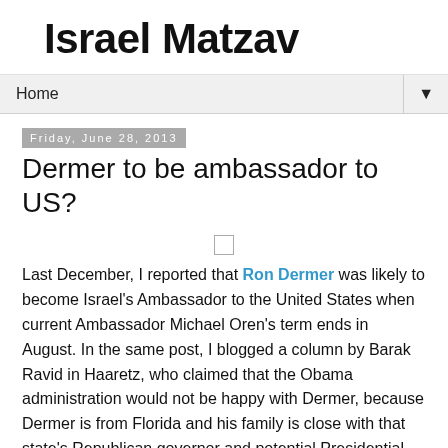Israel Matzav
Home ▼
Friday, June 28, 2013
Dermer to be ambassador to US?
Last December, I reported that Ron Dermer was likely to become Israel's Ambassador to the United States when current Ambassador Michael Oren's term ends in August. In the same post, I blogged a column by Barak Ravid in Haaretz, who claimed that the Obama administration would not be happy with Dermer, because Dermer is from Florida and his family is close with that state's Republican governor and potential Presidential candidate Jeb Bush.
Two weeks later, I reported on another likely candidate for the Washington position: Ehud Barak. I noted that Barak...